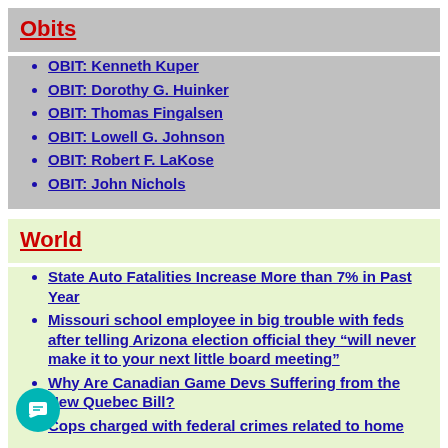Obits
OBIT: Kenneth Kuper
OBIT: Dorothy G. Huinker
OBIT: Thomas Fingalsen
OBIT: Lowell G. Johnson
OBIT: Robert F. LaKose
OBIT: John Nichols
World
State Auto Fatalities Increase More than 7% in Past Year
Missouri school employee in big trouble with feds after telling Arizona election official they “will never make it to your next little board meeting”
Why Are Canadian Game Devs Suffering from the New Quebec Bill?
Cops charged with federal crimes related to home